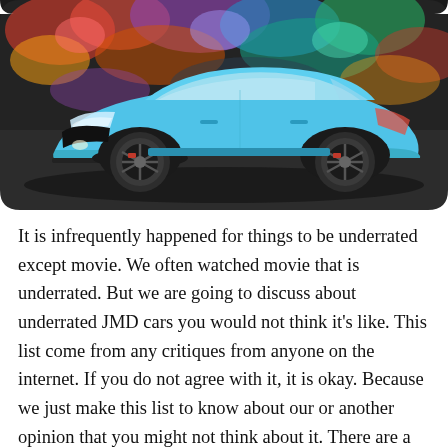[Figure (photo): A light blue lowered sports car (Toyota GT86/Scion FR-S style) parked in front of a colorful graffiti wall. The car has dark multi-spoke alloy wheels and a wide-body stance.]
It is infrequently happened for things to be underrated except movie. We often watched movie that is underrated. But we are going to discuss about underrated JMD cars you would not think it's like. This list come from any critiques from anyone on the internet. If you do not agree with it, it is okay. Because we just make this list to know about our or another opinion that you might not think about it. There are a lot of sports cars to date. You can choose whatever you want because the list is long. This article can make you